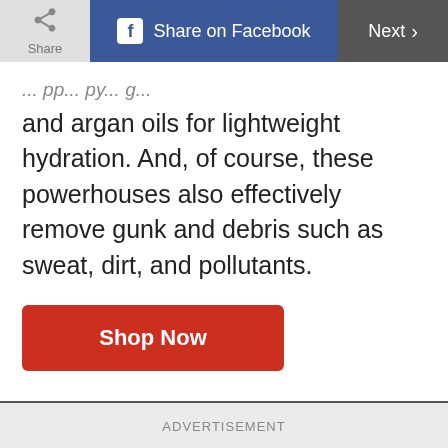Share | Share on Facebook | Next >
and argan oils for lightweight hydration. And, of course, these powerhouses also effectively remove gunk and debris such as sweat, dirt, and pollutants.
[Figure (other): Red 'Shop Now' button]
ADVERTISEMENT